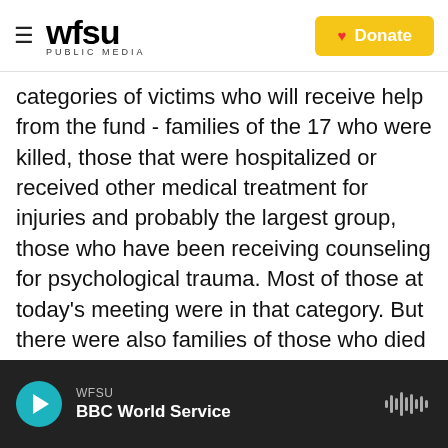WFSU PUBLIC MEDIA | Donate
categories of victims who will receive help from the fund - families of the 17 who were killed, those that were hospitalized or received other medical treatment for injuries and probably the largest group, those who have been receiving counseling for psychological trauma. Most of those at today's meeting were in that category. But there were also families of those who died in the shooting. Tony Montalto, whose daughter, Gina, was killed that day, said for these families, the trauma also goes on.
(SOUNDBITE OF ARCHIVED RECORDING)
WFSU | BBC World Service